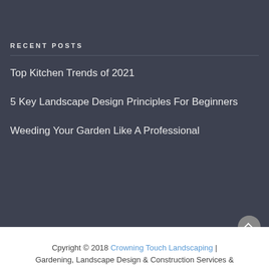RECENT POSTS
Top Kitchen Trends of 2021
5 Key Landscape Design Principles For Beginners
Weeding Your Garden Like A Professional
Cpyright © 2018 Crowning Touch Landscaping | Gardening, Landscape Design & Construction Services &